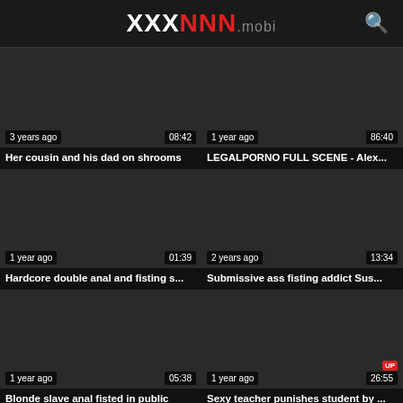XXXNNN.mobi
[Figure (screenshot): Video thumbnail dark, 3 years ago, 08:42]
Her cousin and his dad on shrooms
[Figure (screenshot): Video thumbnail dark, 1 year ago, 86:40]
LEGALPORNO FULL SCENE - Alex...
[Figure (screenshot): Video thumbnail dark, 1 year ago, 01:39]
Hardcore double anal and fisting s...
[Figure (screenshot): Video thumbnail dark, 2 years ago, 13:34]
Submissive ass fisting addict Sus...
[Figure (screenshot): Video thumbnail dark, 1 year ago, 05:38]
Blonde slave anal fisted in public
[Figure (screenshot): Video thumbnail dark, 1 year ago, 26:55]
Sexy teacher punishes student by ...